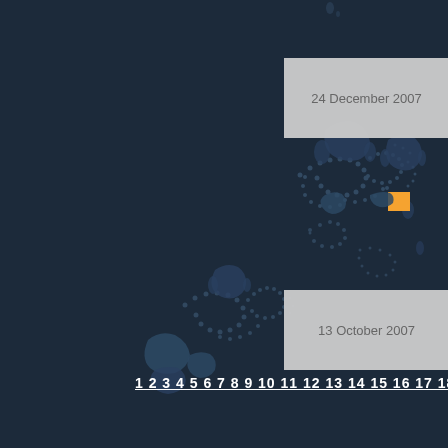[Figure (map): Dark navy blue map showing island outlines and dotted patterns representing archipelago or island chain geography. Light blue/grey island silhouettes on dark background. An orange square marker is positioned in the right-center area of the map.]
24 December 2007
13 October 2007
1 2 3 4 5 6 7 8 9 10 11 12 13 14 15 16 17 18 19 20 21 22 2